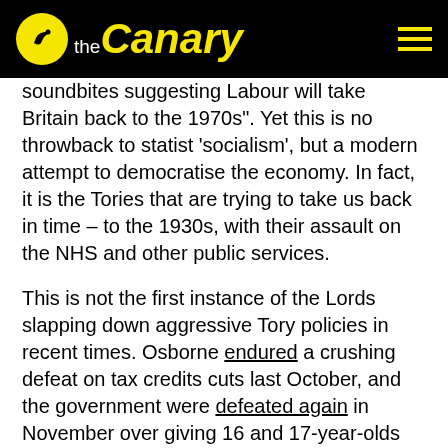the Canary
soundbites suggesting Labour will take Britain back to the 1970s". Yet this is no throwback to statist ‘socialism’, but a modern attempt to democratise the economy. In fact, it is the Tories that are trying to take us back in time – to the 1930s, with their assault on the NHS and other public services.
This is not the first instance of the Lords slapping down aggressive Tory policies in recent times. Osborne endured a crushing defeat on tax credits cuts last October, and the government were defeated again in November over giving 16 and 17-year-olds the vote in the EU referendum. These defeats are all the more humiliating given that Cameron stuffed the upper house with disproportionately more Tory peers last summer.
Gerrymandering boundaries to sculpt a one-party state, undermining the funding of the official opposition, and slicing the finances from all opposition while maximising their own funds —